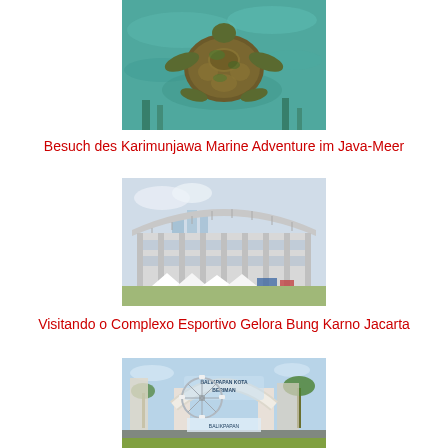[Figure (photo): Aerial view of a sea turtle swimming in clear turquoise water over coral reef]
Besuch des Karimunjawa Marine Adventure im Java-Meer
[Figure (photo): Modern stadium building with distinctive curved roof and open framework structure, with city skyline in background]
Visitando o Complexo Esportivo Gelora Bung Karno Jacarta
[Figure (photo): Balikpapan Kota Beriman decorative arch gate with ferris wheel and palm trees visible]